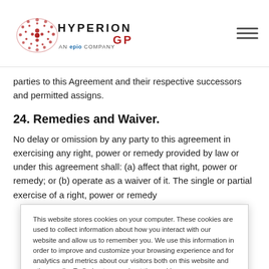HYPERION GP AN epio COMPANY
parties to this Agreement and their respective successors and permitted assigns.
24. Remedies and Waiver.
No delay or omission by any party to this agreement in exercising any right, power or remedy provided by law or under this agreement shall: (a) affect that right, power or remedy; or (b) operate as a waiver of it. The single or partial exercise of a right, power or remedy
This website stores cookies on your computer. These cookies are used to collect information about how you interact with our website and allow us to remember you. We use this information in order to improve and customize your browsing experience and for analytics and metrics about our visitors both on this website and other media. To find out more about the cookies we use, see our Privacy Policy.